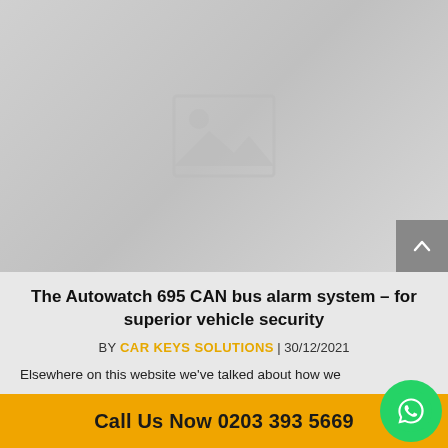[Figure (photo): Placeholder image with grey background and standard image placeholder icon (mountain/sun silhouette)]
The Autowatch 695 CAN bus alarm system – for superior vehicle security
BY CAR KEYS SOLUTIONS | 30/12/2021
Elsewhere on this website we've talked about how we
Call Us Now 0203 393 5669